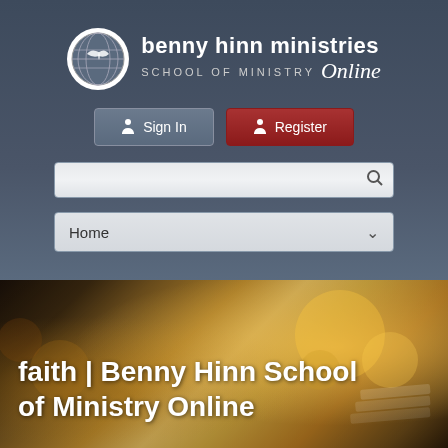[Figure (logo): Benny Hinn Ministries School of Ministry Online logo with circular dove/globe emblem]
benny hinn ministries SCHOOL OF MINISTRY Online
Sign In
Register
Home
faith | Benny Hinn School of Ministry Online